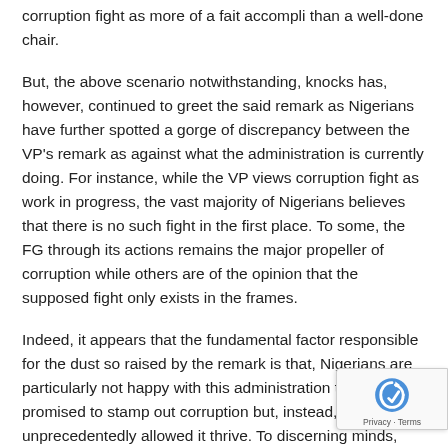corruption fight as more of a fait accompli than a well-done chair.
But, the above scenario notwithstanding, knocks has, however, continued to greet the said remark as Nigerians have further spotted a gorge of discrepancy between the VP’s remark as against what the administration is currently doing. For instance, while the VP views corruption fight as work in progress, the vast majority of Nigerians believes that there is no such fight in the first place. To some, the FG through its actions remains the major propeller of corruption while others are of the opinion that the supposed fight only exists in the frames.
Indeed, it appears that the fundamental factor responsible for the dust so raised by the remark is that, Nigerians are particularly not happy with this administration that promised to stamp out corruption but, instead, has unprecedentedly allowed it thrive. To discerning minds, therefore, informing Nigerians that the same monster the administration promised to erase still exist three years after is synonymous with opening the paradox; a development that has further portrayed the government as a reality Nigerians should worry about.